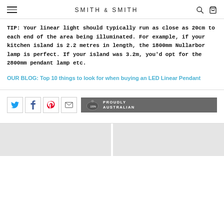SMITH & SMITH
TIP: Your linear light should typically run as close as 20cm to each end of the area being illuminated. For example, if your kitchen island is 2.2 metres in length, the 1800mm Nullarbor lamp is perfect. If your island was 3.2m, you'd opt for the 2800mm pendant lamp etc.
OUR BLOG: Top 10 things to look for when buying an LED Linear Pendant
[Figure (infographic): Row of social share buttons (Twitter, Facebook, Pinterest, email) followed by a Proudly Australian banner with Australia map icon]